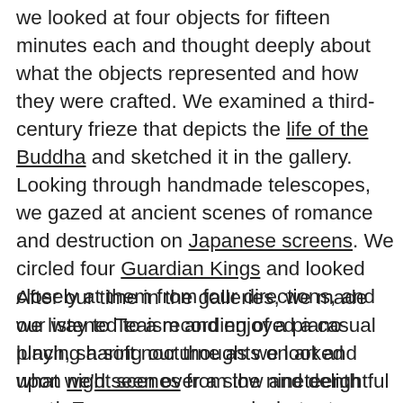we looked at four objects for fifteen minutes each and thought deeply about what the objects represented and how they were crafted. We examined a third-century frieze that depicts the life of the Buddha and sketched it in the gallery. Looking through handmade telescopes, we gazed at ancient scenes of romance and destruction on Japanese screens. We circled four Guardian Kings and looked closely at them from four directions, and we listened to a recording of a piano playing a soft nocturne as we looked upon night scenes from the nineteenth century.
After our time in the galleries, we made our way to Teaism and enjoyed a casual lunch, sharing our thoughts on art and what we'd seen over a slow and delightful meal. Everyone expressed what art means to them and how they were affected by the day's activities. We took our time listening to each other and offering